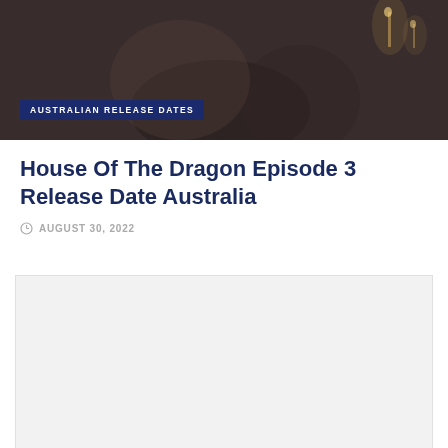[Figure (photo): Dark cinematic still from House of the Dragon showing figures in candlelit medieval setting]
AUSTRALIAN RELEASE DATES
House Of The Dragon Episode 3 Release Date Australia
AUGUST 30, 2022
[Figure (other): Advertisement placeholder box with light grey background]